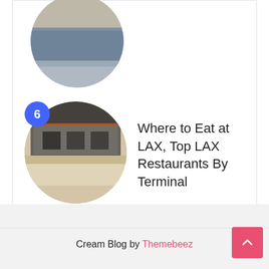[Figure (photo): Partially visible circular photo of a hotel room with blue patterned carpet and furniture at top of card]
[Figure (photo): Circular photo of an airport restaurant/bar interior at LAX with display cases and counter seating, numbered badge '6' overlaid]
Where to Eat at LAX, Top LAX Restaurants By Terminal
Cream Blog by Themebeez